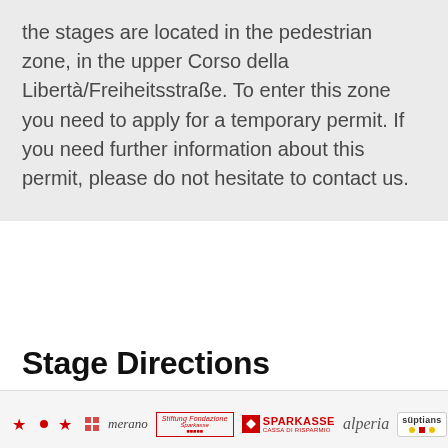the stages are located in the pedestrian zone, in the upper Corso della Libertà/Freiheitsstraße. To enter this zone you need to apply for a temporary permit. If you need further information about this permit, please do not hesitate to contact us.
Stage Directions
[Figure (logo): Row of sponsor logos: three small red eagle/cross symbols, a small flag/grid symbol, merano logo in italic, Stiftung Fondazione Sparkasse logo in red border box, Sparkasse Cassa di Risparmio logo, alperia logo in italic, süptians logo in box with colored icons]